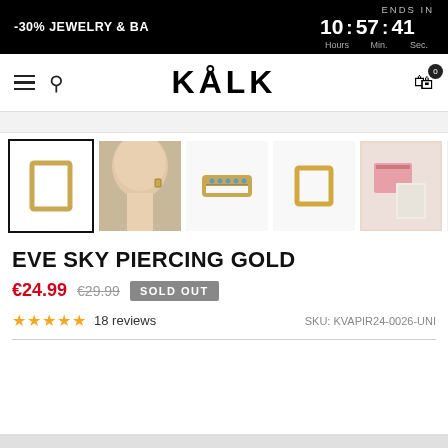-30% JEWELRY & BA | ENDS IN 10 : 57 : 41 Hours Min. Sec.
[Figure (logo): KÅLK brand logo with hamburger menu, search icon, and cart icon with 0 badge]
[Figure (photo): Product thumbnail gallery row: 1) selected gold rectangular earring on white 2) woman wearing earring 3) gold earring with blue stones 4) gold square earring 5) pink packaging 6) KALK branded packaging (partial)]
EVE SKY PIERCING GOLD
€24.99  €29.99  SOLD OUT
★★★★★ 18 reviews   SKU: KVAPIR24-0026-UNI